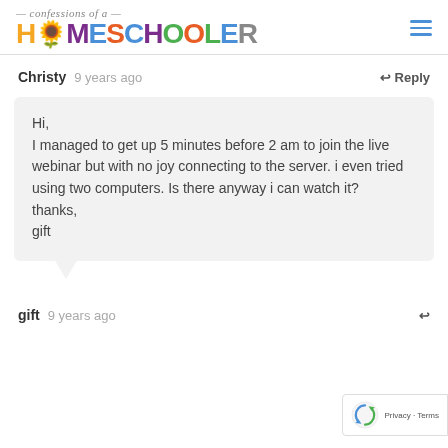confessions of a HOMESCHOOLER
Christy  9 years ago  ↩ Reply
Hi,
I managed to get up 5 minutes before 2 am to join the live webinar but with no joy connecting to the server. i even tried using two computers. Is there anyway i can watch it?
thanks,
gift
gift  9 years ago  ↩